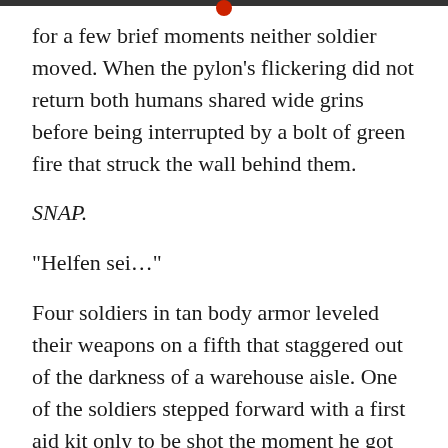for a few brief moments neither soldier moved. When the pylon's flickering did not return both humans shared wide grins before being interrupted by a bolt of green fire that struck the wall behind them.
SNAP.
“Helfen sei…”
Four soldiers in tan body armor leveled their weapons on a fifth that staggered out of the darkness of a warehouse aisle. One of the soldiers stepped forward with a first aid kit only to be shot the moment he got within arm’s reach. The shooter screamed pitifully and exploded a second later and the whole warehouse erupted into chaos as lances of green fire were met by the booming reports of the humans weapons